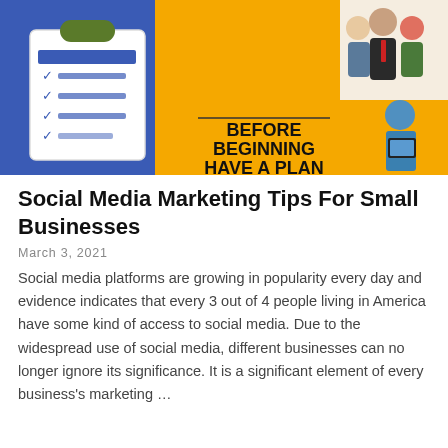[Figure (illustration): Infographic banner with blue and yellow background. Left side shows a clipboard with checkmarks on blue background. Center shows bold text 'BEFORE BEGINNING HAVE A PLAN' on yellow background with a horizontal line above. Top right shows illustrated business people on cream background. Right side shows a person holding a laptop on yellow background.]
Social Media Marketing Tips For Small Businesses
March 3, 2021
Social media platforms are growing in popularity every day and evidence indicates that every 3 out of 4 people living in America have some kind of access to social media. Due to the widespread use of social media, different businesses can no longer ignore its significance. It is a significant element of every business's marketing …